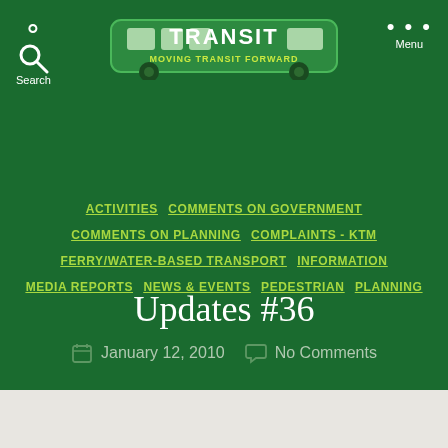TRANSIT — MOVING TRANSIT FORWARD
ACTIVITIES
COMMENTS ON GOVERNMENT
COMMENTS ON PLANNING
COMPLAINTS - KTM
FERRY/WATER-BASED TRANSPORT
INFORMATION
MEDIA REPORTS
NEWS & EVENTS
PEDESTRIAN
PLANNING
Updates #36
January 12, 2010   No Comments